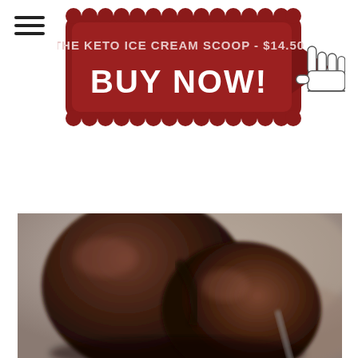[Figure (other): Hamburger menu icon — three horizontal black lines stacked vertically]
[Figure (infographic): Red scalloped banner button reading 'THE KETO ICE CREAM SCOOP - $14.50' above large bold text 'BUY NOW!' with a pointing hand cursor icon on the right side. Background is dark red/maroon with a lighter red arrow shape.]
[Figure (photo): Close-up photograph of chocolate ice cream scoops in a bowl or dish, blurred bokeh background, dark chocolate brown color, appears rich and creamy.]